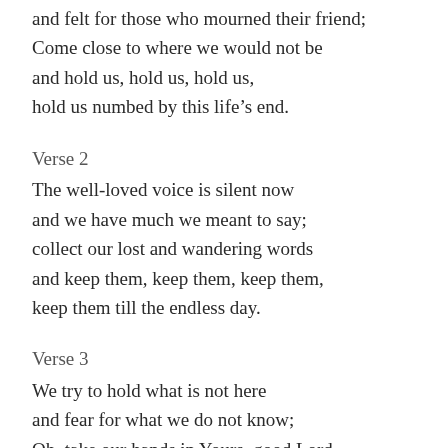and felt for those who mourned their friend;
Come close to where we would not be
and hold us, hold us, hold us,
hold us numbed by this life’s end.
Verse 2
The well-loved voice is silent now
and we have much we meant to say;
collect our lost and wandering words
and keep them, keep them, keep them,
keep them till the endless day.
Verse 3
We try to hold what is not here
and fear for what we do not know;
Oh, take our hands in Yours, good Lord,